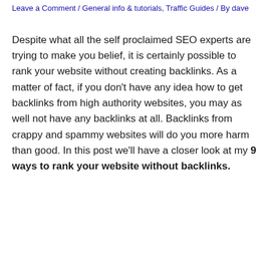Leave a Comment / General info & tutorials, Traffic Guides / By dave
Despite what all the self proclaimed SEO experts are trying to make you belief, it is certainly possible to rank your website without creating backlinks. As a matter of fact, if you don't have any idea how to get backlinks from high authority websites, you may as well not have any backlinks at all. Backlinks from crappy and spammy websites will do you more harm than good. In this post we'll have a closer look at my 9 ways to rank your website without backlinks.